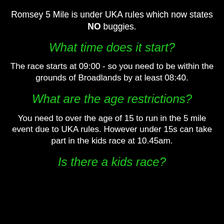Romsey 5 Mile is under UKA rules which now states NO buggies.
What time does it start?
The race starts at 09:00 - so you need to be within the grounds of Broadlands by at least 08:40.
What are the age restrictions?
You need to over the age of 15 to run in the 5 mile event due to UKA rules. However under 15s can take part in the kids race at 10.45am.
Is there a kids race?